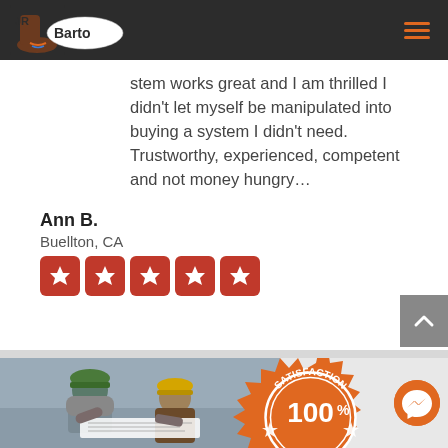JR Barto logo and navigation
stem works great and I am thrilled I didn't let myself be manipulated into buying a system I didn't need. Trustworthy, experienced, competent and not money hungry...
Ann B.
Buellton, CA
[Figure (illustration): Five red rounded-square star rating icons in a row]
[Figure (photo): Two workers in hard hats reviewing plans, with a Satisfaction 100% Guaranteed badge overlaid]
[Figure (other): Orange circular Facebook Messenger chat bubble icon]